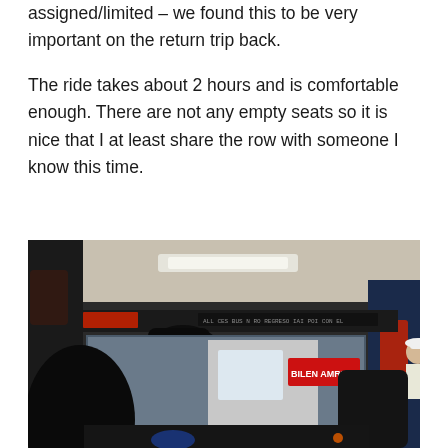assigned/limited – we found this to be very important on the return trip back.
The ride takes about 2 hours and is comfortable enough. There are not any empty seats so it is nice that I at least share the row with someone I know this time.
[Figure (photo): Interior view of a bus from a passenger seat looking toward the front. Shows the driver's seat, windshield, bus ceiling with overhead lights, and through the windshield a person standing outside the bus with a white hat and vest. Dashboard and controls are visible.]